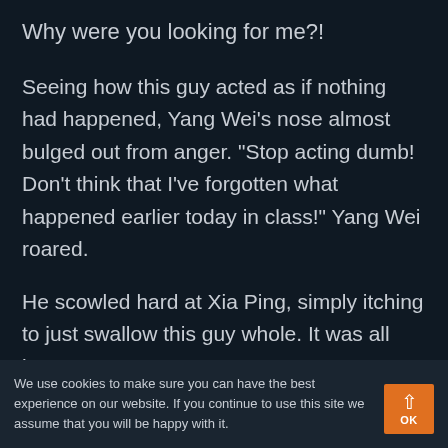Why were you looking for me?!
Seeing how this guy acted as if nothing had happened, Yang Wei’s nose almost bulged out from anger. “Stop acting dumb! Don’t think that I’ve forgotten what happened earlier today in class!” Yang Wei roared.
He scowled hard at Xia Ping, simply itching to just swallow this guy whole. It was all because
We use cookies to make sure you can have the best experience on our website. If you continue to use this site we assume that you will be happy with it.